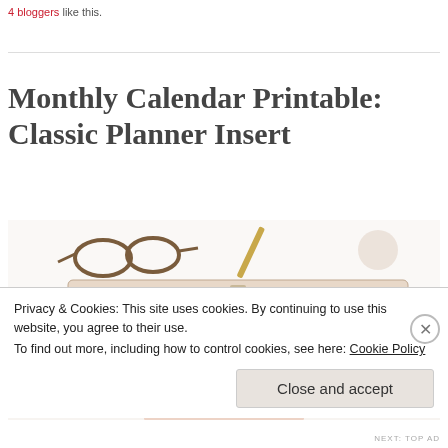4 bloggers like this.
Monthly Calendar Printable: Classic Planner Insert
[Figure (photo): Open ring-bound planner showing a monthly calendar insert with 'Month of:' header, displayed on a white fluffy surface with glasses and a pen nearby]
Privacy & Cookies: This site uses cookies. By continuing to use this website, you agree to their use. To find out more, including how to control cookies, see here: Cookie Policy
Close and accept